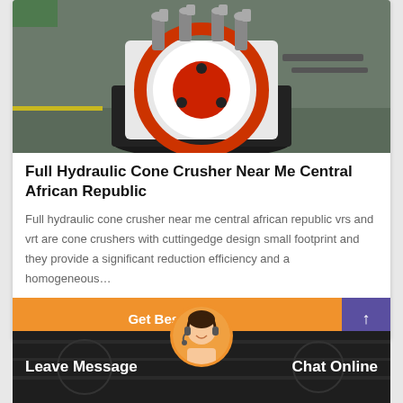[Figure (photo): Full hydraulic cone crusher machine photographed from the front, showing white and orange/red cylindrical body with hydraulic cylinders on top, sitting on a dark rubber base on a concrete floor.]
Full Hydraulic Cone Crusher Near Me Central African Republic
Full hydraulic cone crusher near me central african republic vrs and vrt are cone crushers with cuttingedge design small footprint and they provide a significant reduction efficiency and a homogeneous…
Get Best Quote
Leave Message
Chat Online